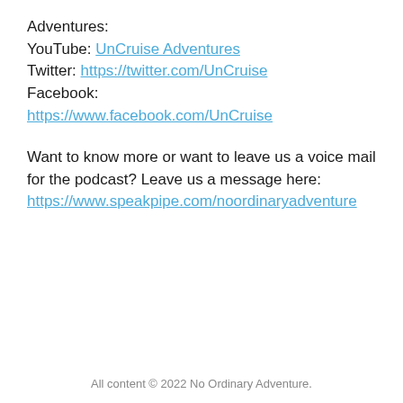Adventures:
YouTube: UnCruise Adventures
Twitter: https://twitter.com/UnCruise
Facebook:
https://www.facebook.com/UnCruise
Want to know more or want to leave us a voice mail for the podcast? Leave us a message here:
https://www.speakpipe.com/noordinaryadventure
All content © 2022 No Ordinary Adventure.